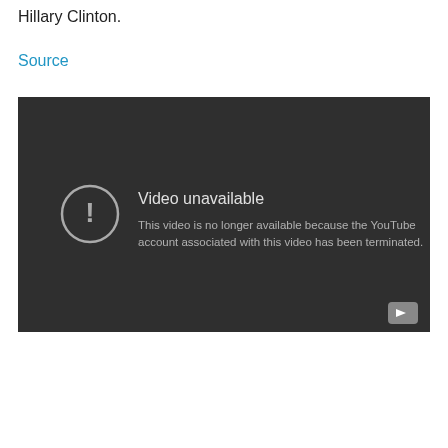Hillary Clinton.
Source
[Figure (screenshot): YouTube video unavailable message on dark background. Text reads: 'Video unavailable. This video is no longer available because the YouTube account associated with this video has been terminated.' A circular exclamation mark icon is shown on the left, and a YouTube play button icon appears in the bottom right corner.]